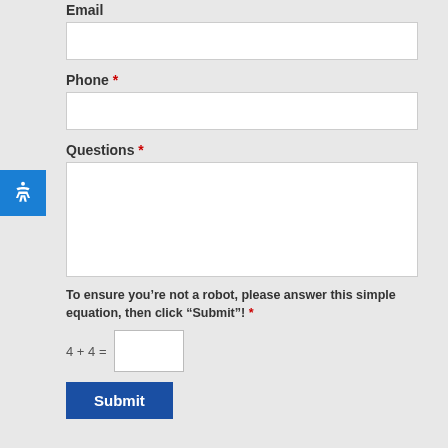Email
Phone *
Questions *
To ensure you’re not a robot, please answer this simple equation, then click “Submit”! *
Submit